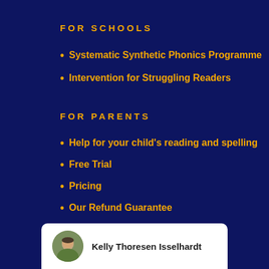FOR SCHOOLS
Systematic Synthetic Phonics Programme
Intervention for Struggling Readers
FOR PARENTS
Help for your child's reading and spelling
Free Trial
Pricing
Our Refund Guarantee
FAQs
Reviews
Kelly Thoresen Isselhardt